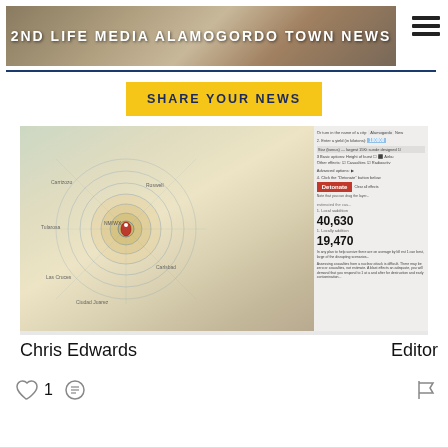[Figure (screenshot): Header banner for 2nd Life Media Alamogordo Town News website with sepia-toned background image]
2ND LIFE MEDIA ALAMOGORDO TOWN NEWS
SHARE YOUR NEWS
[Figure (screenshot): Screenshot of a nuclear blast radius mapping tool showing Alamogordo NM area on a map with concentric circles indicating blast zones. Right panel shows numbers 40,630 and 19,470 with a red Detonate button.]
Chris Edwards
Editor
1